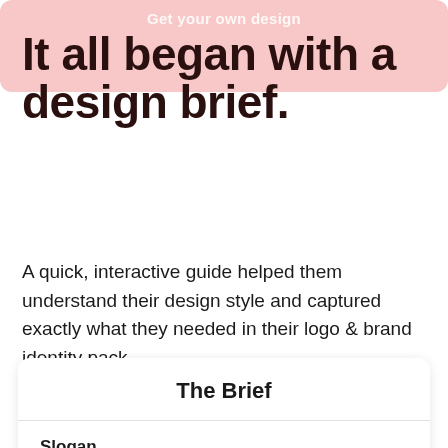Get your own design
It all began with a design brief.
A quick, interactive guide helped them understand their design style and captured exactly what they needed in their logo & brand identity pack.
The Brief
Slogan
restoring limbs, restoring lives